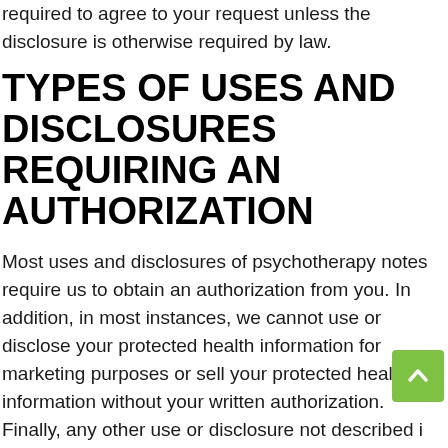required to agree to your request unless the disclosure is otherwise required by law.
TYPES OF USES AND DISCLOSURES REQUIRING AN AUTHORIZATION
Most uses and disclosures of psychotherapy notes require us to obtain an authorization from you. In addition, in most instances, we cannot use or disclose your protected health information for marketing purposes or sell your protected health information without your written authorization. Finally, any other use or disclosure not described in this Notice will be made only with your authorization. Any time